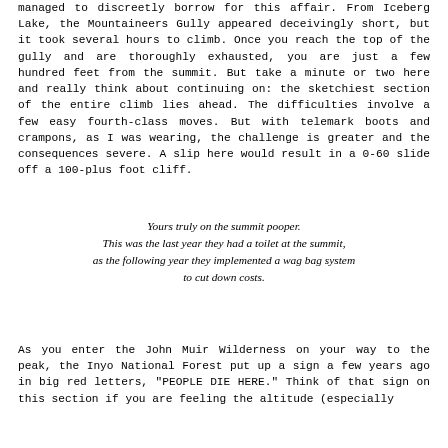managed to discreetly borrow for this affair. From Iceberg Lake, the Mountaineers Gully appeared deceivingly short, but it took several hours to climb. Once you reach the top of the gully and are thoroughly exhausted, you are just a few hundred feet from the summit. But take a minute or two here and really think about continuing on: the sketchiest section of the entire climb lies ahead. The difficulties involve a few easy fourth-class moves. But with telemark boots and crampons, as I was wearing, the challenge is greater and the consequences severe. A slip here would result in a 0-60 slide off a 100-plus foot cliff.
Yours truly on the summit pooper.
This was the last year they had a toilet at the summit,
as the following year they implemented a wag bag system
to cut down costs.
As you enter the John Muir Wilderness on your way to the peak, the Inyo National Forest put up a sign a few years ago in big red letters, "PEOPLE DIE HERE." Think of that sign on this section if you are feeling the altitude (especially